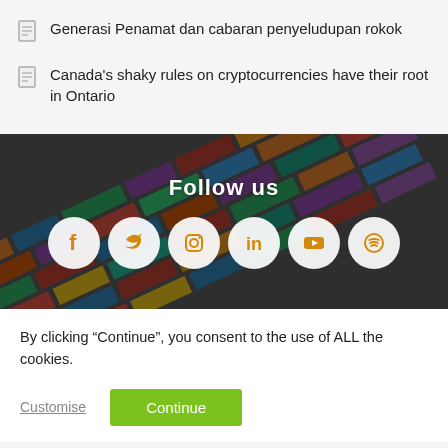Generasi Penamat dan cabaran penyeludupan rokok
Canada's shaky rules on cryptocurrencies have their root in Ontario
[Figure (infographic): Follow us banner with shipping container background and six social media icons (Facebook, Twitter, Instagram, LinkedIn, YouTube, Spotify) in circular white buttons with orange icons.]
By clicking “Continue”, you consent to the use of ALL the cookies.
Customise   Continue